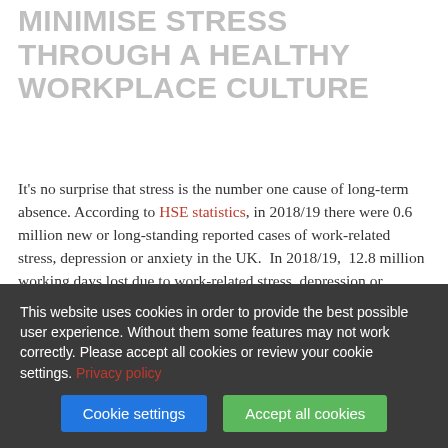MINIMISE STRESS THROUGH A HEALTHY WORKPLACE CULTURE
It's no surprise that stress is the number one cause of long-term absence. According to HSE statistics, in 2018/19 there were 0.6 million new or long-standing reported cases of work-related stress, depression or anxiety in the UK. In 2018/19, 12.8 million working days lost due to work-related stress, depression or anxiety.
Pressures and stresses can come from both work and home. At work there are often heavy workloads and long working hours, while at home there can be financial stresses, lifestyle pressures and personal family pressures, all of which have an impact...
This website uses cookies in order to provide the best possible user experience. Without them some features may not work correctly. Please accept all cookies or review your cookie settings. Privacy policy